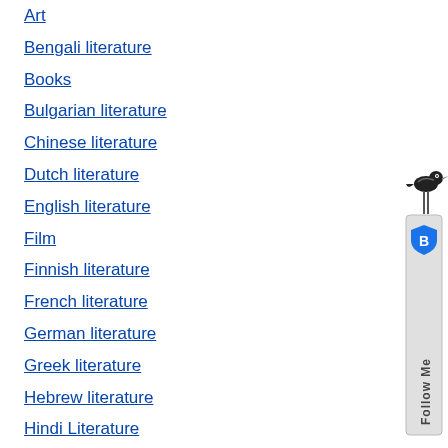Art
Bengali literature
Books
Bulgarian literature
Chinese literature
Dutch literature
English literature
Film
Finnish literature
French literature
German literature
Greek literature
Hebrew literature
Hindi Literature
Hungarian literature
Icelandic literature
Indonesian literature
Interview
Italian literature
[Figure (illustration): Follow Me social badge widget with bird icon and blue shield logo, displayed vertically on the right side of the page]